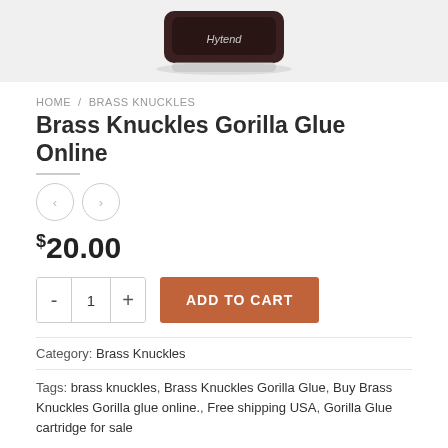[Figure (photo): Partial product image showing a dark-colored product container with 'Hybrid' text visible, cropped at top of page]
HOME / BRASS KNUCKLES
Brass Knuckles Gorilla Glue Online
[Figure (other): Navigation arrows: left and right circular arrow buttons for product image carousel]
$20.00
[Figure (other): Quantity selector with minus button, value 1, plus button, and orange ADD TO CART button]
Category: Brass Knuckles
Tags: brass knuckles, Brass Knuckles Gorilla Glue, Buy Brass Knuckles Gorilla glue online., Free shipping USA, Gorilla Glue cartridge for sale